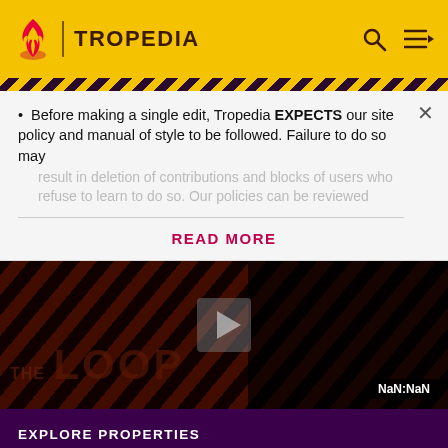TROPEDIA
Before making a single edit, Tropedia EXPECTS our site policy and manual of style to be followed. Failure to do so may
READ MORE
[Figure (screenshot): THE LOOP video player area with play button and NaN:NaN timestamp]
EXPLORE PROPERTIES
Fandom
Futhead
Cortex RPG
Fanatical
Muthead